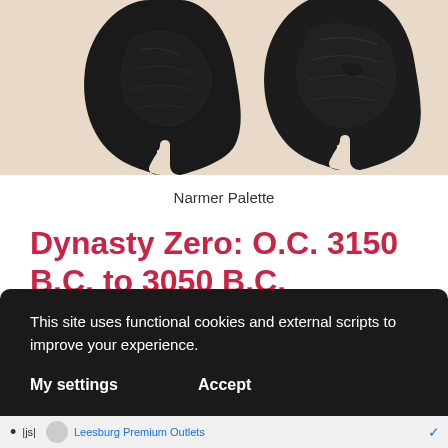[Figure (photo): Two dark black carved slate palette objects (Narmer Palette) shown against a beige/cream background, each roughly shield-shaped with carved relief imagery visible on their surfaces.]
Narmer Palette
Dynasty Zero: O.C. 3150 B.C. to 3050 B.C.
This site uses functional cookies and external scripts to improve your experience.
My settings    Accept
• |js| Leesburg Premium Outlets